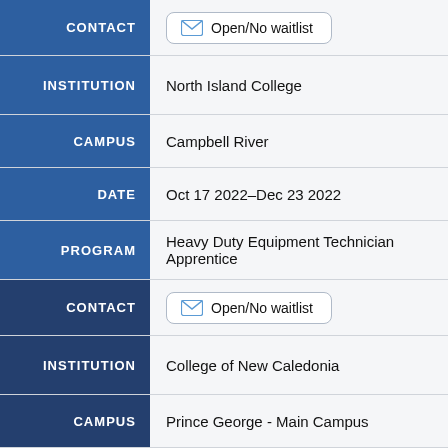| Field | Value |
| --- | --- |
| CONTACT | Open/No waitlist |
| INSTITUTION | North Island College |
| CAMPUS | Campbell River |
| DATE | Oct 17 2022–Dec 23 2022 |
| PROGRAM | Heavy Duty Equipment Technician Apprentice |
| CONTACT | Open/No waitlist |
| INSTITUTION | College of New Caledonia |
| CAMPUS | Prince George - Main Campus |
| DATE | Jan 03 2023–Mar 10 2023 |
| PROGRAM | Heavy Mechanical Group Trades |